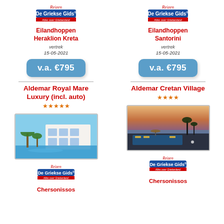[Figure (logo): De Griekse Gids Reizen logo - top left]
Eilandhoppen
Heraklion Kreta
vertrek
15-05-2021
v.a. €795
Aldemar Royal Mare Luxury (incl. auto)
*****
[Figure (photo): Hotel pool and white building with palm trees - Aldemar Royal Mare Crete]
[Figure (logo): De Griekse Gids Reizen logo - bottom left]
Chersonissos
[Figure (logo): De Griekse Gids Reizen logo - top right]
Eilandhoppen
Santorini
vertrek
15-05-2021
v.a. €795
Aldemar Cretan Village
****
[Figure (photo): Hotel pool terrace at sunset/dusk - Aldemar Cretan Village]
[Figure (logo): De Griekse Gids Reizen logo - bottom right]
Chersonissos